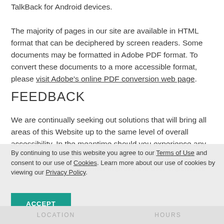TalkBack for Android devices. The majority of pages in our site are available in HTML format that can be deciphered by screen readers. Some documents may be formatted in Adobe PDF format. To convert these documents to a more accessible format, please visit Adobe's online PDF conversion web page.
FEEDBACK
We are continually seeking out solutions that will bring all areas of this Website up to the same level of overall accessibility. In the meantime should you experience any difficulty in accessing this Website or have any recommendations to further improve the user experience.
By continuing to use this website you agree to our Terms of Use and consent to our use of Cookies. Learn more about our use of cookies by viewing our Privacy Policy.